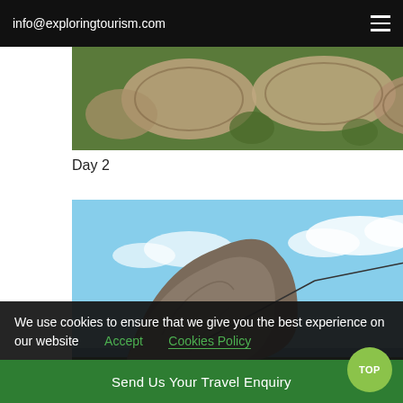info@exploringtourism.com
[Figure (photo): Aerial view of oval-shaped sandy formations on green land]
Day 2
[Figure (photo): Sugarloaf Mountain in Rio de Janeiro with a cable car on the wire, blue sky and sea in background]
Day 3
[Figure (photo): Partial view of palm trees against blue sky]
We use cookies to ensure that we give you the best experience on our website  Accept  Cookies Policy
Send Us Your Travel Enquiry